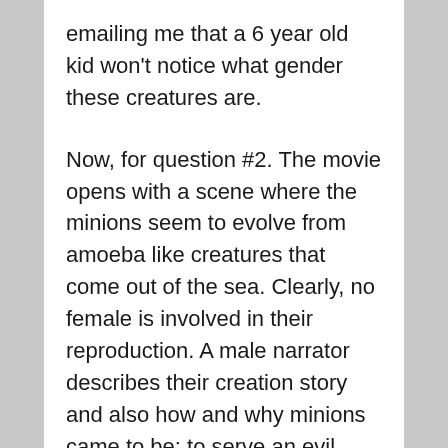emailing me that a 6 year old kid won't notice what gender these creatures are.
Now, for question #2. The movie opens with a scene where the minions seem to evolve from amoeba like creatures that come out of the sea. Clearly, no female is involved in their reproduction. A male narrator describes their creation story and also how and why minions came to be: to serve an evil master. As evolution continues on the screen, we hear the narrator introduce “man.” We then see a caveman, followed by a series of other male leaders including a pharaoh and